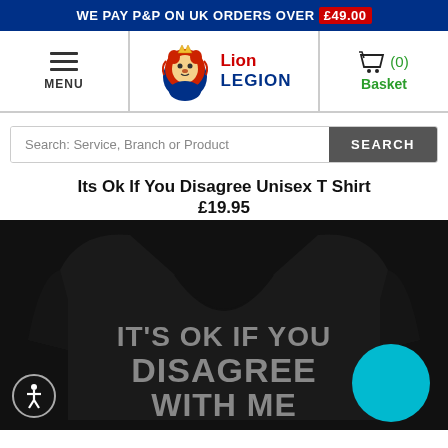WE PAY P&P ON UK ORDERS OVER £49.00
[Figure (logo): Lion Legion logo with lion head graphic, red 'Lion' text and blue 'LEGION' text]
Search: Service, Branch or Product
Its Ok If You Disagree Unisex T Shirt £19.95
[Figure (photo): Black t-shirt showing back with text IT'S OK IF YOU DISAGREE WITH ME in grey block letters. Accessibility icon bottom left and cyan circle overlay bottom right.]